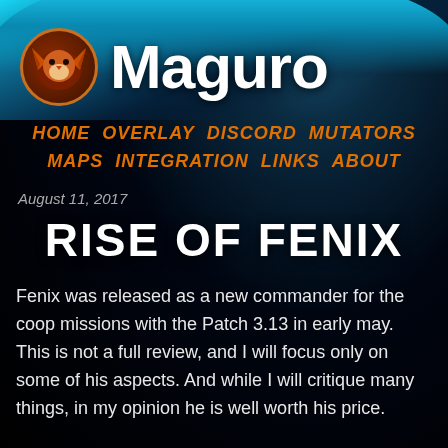[Figure (logo): Maguro website logo with fox icon in orange circle and site title 'Maguro' in white bold text, set against a space/earth background]
HOME  OVERLAY  DISCORD  MUTATORS  MAPS  INTEGRATION  LINKS  ABOUT
August 11, 2017
RISE OF FENIX
Fenix was released as a new commander for the coop missions with the Patch 3.13 in early may. This is not a full review, and I will focus only on some of his aspects. And while I will critique many things, in my opinion he is well worth his price.